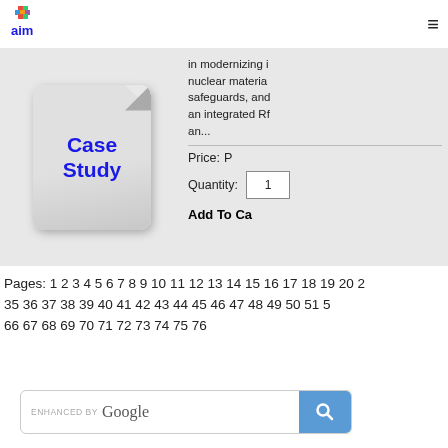[Figure (logo): AIM logo with colorful diamond/sparkle icon above text 'aim' in blue lowercase letters]
[Figure (illustration): Case Study document icon — white/grey paper with folded corner, bold blue text 'Case Study']
in modernizing it nuclear materia safeguards, and an integrated RF an...
Price:
Quantity: 1
Add To Ca
Pages: 1 2 3 4 5 6 7 8 9 10 11 12 13 14 15 16 17 18 19 20 21 35 36 37 38 39 40 41 42 43 44 45 46 47 48 49 50 51 52 66 67 68 69 70 71 72 73 74 75 76
[Figure (screenshot): Google search bar with 'ENHANCED BY Google' label and blue search button with magnifying glass icon]